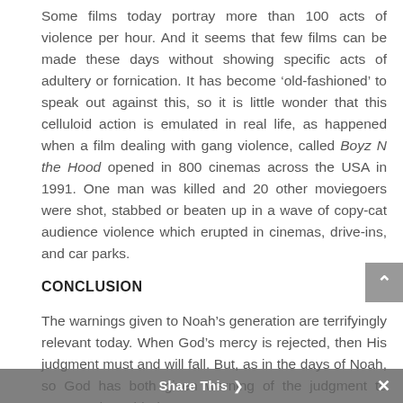Some films today portray more than 100 acts of violence per hour. And it seems that few films can be made these days without showing specific acts of adultery or fornication. It has become ‘old-fashioned’ to speak out against this, so it is little wonder that this celluloid action is emulated in real life, as happened when a film dealing with gang violence, called Boyz N the Hood opened in 800 cinemas across the USA in 1991. One man was killed and 20 other moviegoers were shot, stabbed or beaten up in a wave of copy-cat audience violence which erupted in cinemas, drive-ins, and car parks.
CONCLUSION
The warnings given to Noah’s generation are terrifyingly relevant today. When God’s mercy is rejected, then His judgment must and will fall. But, as in the days of Noah, so God has both given warning of the judgment to come and provided a way...